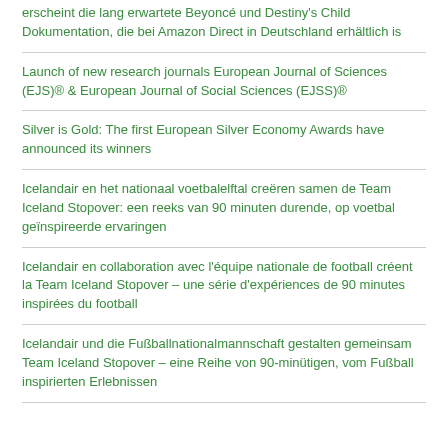erscheint die lang erwartete Beyoncé und Destiny's Child Dokumentation, die bei Amazon Direct in Deutschland erhältlich is
Launch of new research journals European Journal of Sciences (EJS)® & European Journal of Social Sciences (EJSS)®
Silver is Gold: The first European Silver Economy Awards have announced its winners
Icelandair en het nationaal voetbalelftal creëren samen de Team Iceland Stopover: een reeks van 90 minuten durende, op voetbal geïnspireerde ervaringen
Icelandair en collaboration avec l'équipe nationale de football créent la Team Iceland Stopover – une série d'expériences de 90 minutes inspirées du football
Icelandair und die Fußballnationalmannschaft gestalten gemeinsam Team Iceland Stopover – eine Reihe von 90-minütigen, vom Fußball inspirierten Erlebnissen